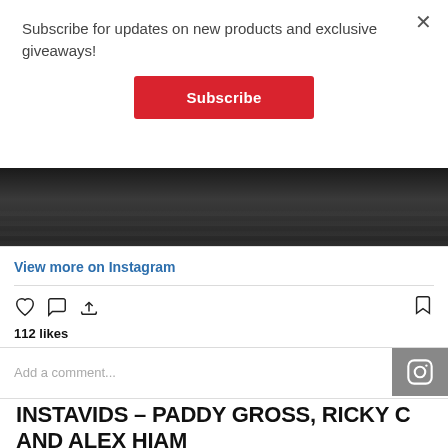Subscribe for updates on new products and exclusive giveaways!
Subscribe
[Figure (photo): Dark grayscale photo of concrete stairs or architectural steps]
View more on Instagram
[Figure (infographic): Instagram action icons: heart (like), comment bubble, share arrow, and bookmark]
112 likes
Add a comment...
INSTAVIDS – PADDY GROSS, RICKY C AND ALEX HIAM